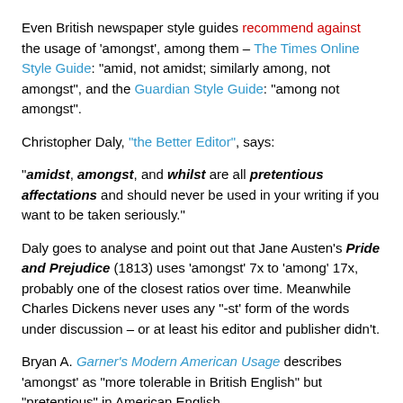Even British newspaper style guides recommend against the usage of 'amongst', among them – The Times Online Style Guide: "amid, not amidst; similarly among, not amongst", and the Guardian Style Guide: "among not amongst".
Christopher Daly, "the Better Editor", says:
"amidst, amongst, and whilst are all pretentious affectations and should never be used in your writing if you want to be taken seriously."
Daly goes to analyse and point out that Jane Austen's Pride and Prejudice (1813) uses 'amongst' 7x to 'among' 17x, probably one of the closest ratios over time. Meanwhile Charles Dickens never uses any "-st' form of the words under discussion – or at least his editor and publisher didn't.
Bryan A. Garner's Modern American Usage describes 'amongst' as "more tolerable in British English" but "pretentious" in American English.
Autocorrect and Spellcheck
What can be confusing, is that spellcheckers and autocorrect